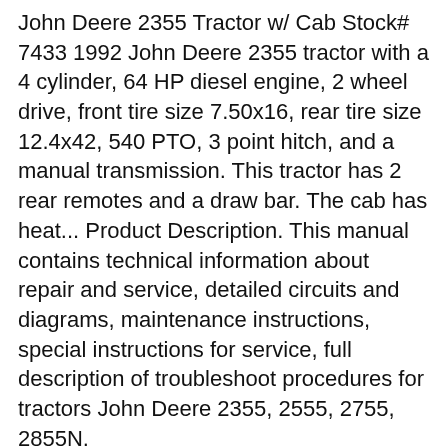John Deere 2355 Tractor w/ Cab Stock# 7433 1992 John Deere 2355 tractor with a 4 cylinder, 64 HP diesel engine, 2 wheel drive, front tire size 7.50x16, rear tire size 12.4x42, 540 PTO, 3 point hitch, and a manual transmission. This tractor has 2 rear remotes and a draw bar. The cab has heat... Product Description. This manual contains technical information about repair and service, detailed circuits and diagrams, maintenance instructions, special instructions for service, full description of troubleshoot procedures for tractors John Deere 2355, 2555, 2755, 2855N.
115 results for 2355 john deere tractors Save this search. Shipping to 98052: